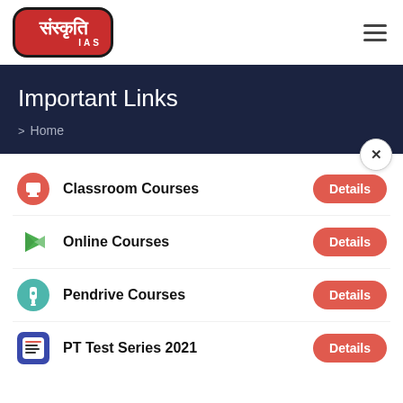[Figure (logo): Sanskriti IAS logo — red rounded rectangle with Hindi text and IAS label]
Important Links
> Home
Classroom Courses — Details
Online Courses — Details
Pendrive Courses — Details
PT Test Series 2021 — Details